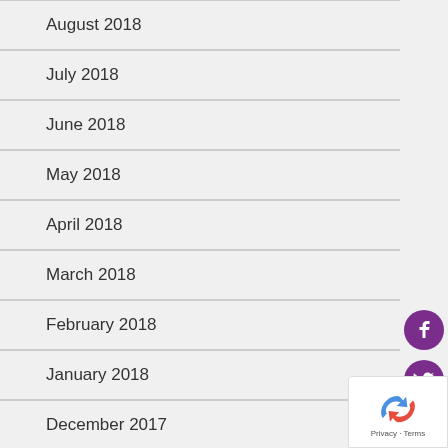August 2018
July 2018
June 2018
May 2018
April 2018
March 2018
February 2018
January 2018
December 2017
November 2017
[Figure (other): Social media icons (Facebook, Twitter, Instagram) and Follow us text on right sidebar]
[Figure (other): Google reCAPTCHA badge with Privacy and Terms links]